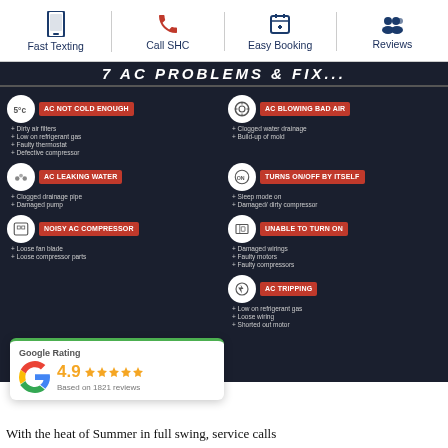Fast Texting | Call SHC | Easy Booking | Reviews
[Figure (infographic): AC troubleshooting infographic on dark background listing 6 common AC problems: AC Not Cold Enough, AC Blowing Bad Air, AC Leaking Water, Turns On/Off By Itself, Noisy AC Compressor, Unable To Turn On, AC Tripping — each with bullet-point causes.]
[Figure (other): Google Rating card showing 4.9 stars based on 1821 reviews]
With the heat of Summer in full swing, service calls